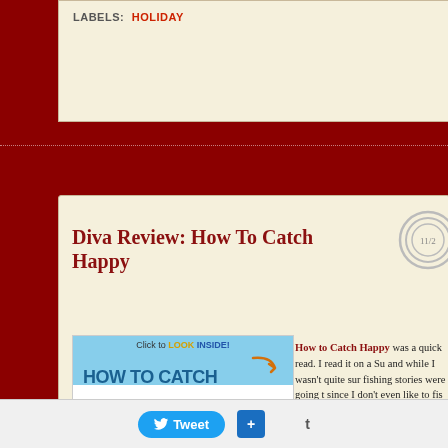LABELS: HOLIDAY
Diva Review: How To Catch Happy
[Figure (illustration): Book cover for 'How To Catch Happy' showing a light blue background with bold blue text 'HOW TO CATCH' above an orange banner with white bold text 'HAPPY', with a 'Click to LOOK INSIDE!' banner and arrow at the top]
How to Catch Happy was a quick read. I read it on a Su and while I wasn't quite sur fishing stories were going t since I don't even like to fis what would make me happ